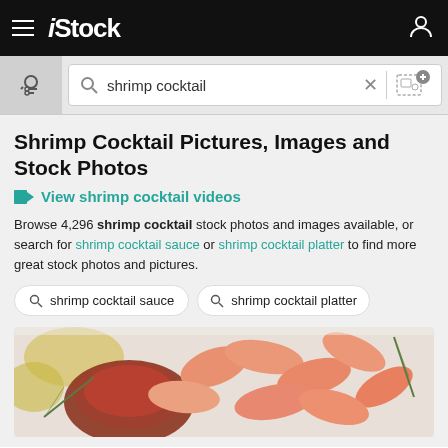iStock
[Figure (screenshot): Search bar with 'shrimp cocktail' query]
Shrimp Cocktail Pictures, Images and Stock Photos
View shrimp cocktail videos
Browse 4,296 shrimp cocktail stock photos and images available, or search for shrimp cocktail sauce or shrimp cocktail platter to find more great stock photos and pictures.
shrimp cocktail sauce
shrimp cocktail platter
[Figure (photo): Shrimp cocktail with cocktail sauce and lemon garnish on white plate]